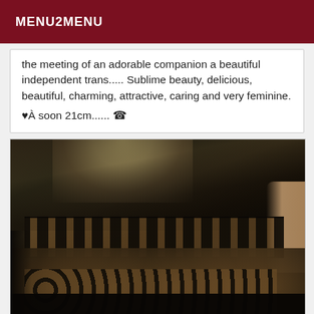MENU2MENU
the meeting of an adorable companion a beautiful independent trans..... Sublime beauty, delicious, beautiful, charming, attractive, caring and very feminine. ♥À soon 21cm...... ☎
[Figure (photo): Back view of a person with medium-length hair wearing a black lace dress, dark background]